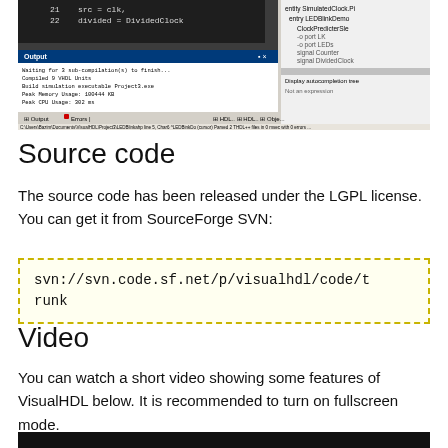[Figure (screenshot): Screenshot of VisualHDL IDE showing code editor with 'src = clk,' and 'divided = DividedClock' lines, Output panel showing compilation messages including 'Waiting for 3 sub-compilation(s) to finish...', 'Compiled 9 VHDL Units', 'Build simulation executable Project3.exe', 'Peak Memory Usage: 100444 KB', 'Peak CPU Usage: 302 ms', and a project hierarchy panel on the right showing entity SimulatedClock, entry LEDBlinkDemo, ClockPredicterSle, port LK, port LEDs, signal Counter, signal DividedClock.]
Source code
The source code has been released under the LGPL license. You can get it from SourceForge SVN:
svn://svn.code.sf.net/p/visualhdl/code/trunk
Video
You can watch a short video showing some features of VisualHDL below. It is recommended to turn on fullscreen mode.
[Figure (screenshot): Bottom portion of a video or screenshot, appears as a dark/black bar at the bottom of the page.]